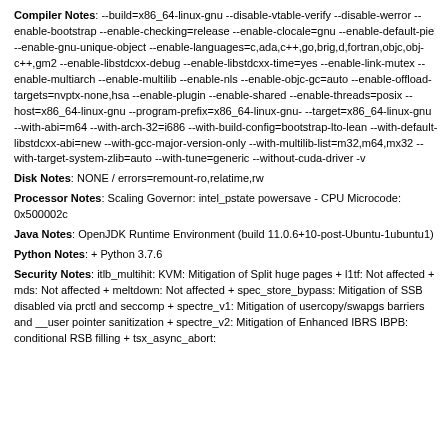Compiler Notes: --build=x86_64-linux-gnu --disable-vtable-verify --disable-werror --enable-bootstrap --enable-checking=release --enable-clocale=gnu --enable-default-pie --enable-gnu-unique-object --enable-languages=c,ada,c++,go,brig,d,fortran,objc,obj-c++,gm2 --enable-libstdcxx-debug --enable-libstdcxx-time=yes --enable-link-mutex --enable-multiarch --enable-multilib --enable-nls --enable-objc-gc=auto --enable-offload-targets=nvptx-none,hsa --enable-plugin --enable-shared --enable-threads=posix --host=x86_64-linux-gnu --program-prefix=x86_64-linux-gnu- --target=x86_64-linux-gnu --with-abi=m64 --with-arch-32=i686 --with-build-config=bootstrap-lto-lean --with-default-libstdcxx-abi=new --with-gcc-major-version-only --with-multilib-list=m32,m64,mx32 --with-target-system-zlib=auto --with-tune=generic --without-cuda-driver -v
Disk Notes: NONE / errors=remount-ro,relatime,rw
Processor Notes: Scaling Governor: intel_pstate powersave - CPU Microcode: 0x500002c
Java Notes: OpenJDK Runtime Environment (build 11.0.6+10-post-Ubuntu-1ubuntu1)
Python Notes: + Python 3.7.6
Security Notes: itlb_multihit: KVM: Mitigation of Split huge pages + l1tf: Not affected + mds: Not affected + meltdown: Not affected + spec_store_bypass: Mitigation of SSB disabled via prctl and seccomp + spectre_v1: Mitigation of usercopy/swapgs barriers and __user pointer sanitization + spectre_v2: Mitigation of Enhanced IBRS IBPB: conditional RSB filling + tsx_async_abort: